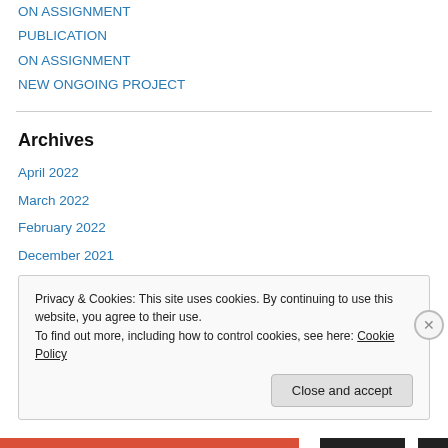ON ASSIGNMENT
PUBLICATION
ON ASSIGNMENT
NEW ONGOING PROJECT
Archives
April 2022
March 2022
February 2022
December 2021
November 2021
October 2021
Privacy & Cookies: This site uses cookies. By continuing to use this website, you agree to their use. To find out more, including how to control cookies, see here: Cookie Policy
Close and accept